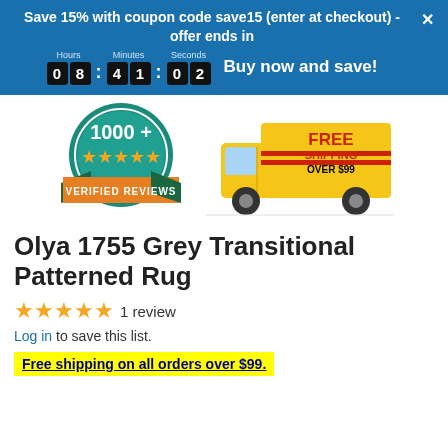Save 15% with coupon code save15 (enter at checkout) - offer ends in
[Figure (infographic): Countdown timer showing 08:41:02 with Hours, Minutes, Seconds labels and 'Buy now and save!' text]
[Figure (infographic): 1000+ five-star verified reviews badge (teal circular badge with gold stars and orange ribbon) and a yellow delivery truck with FREE SHIPPING OVER $99 text]
Olya 1755 Grey Transitional Patterned Rug
★★★★★ 1 review
Log in to save this list.
Free shipping on all orders over $99.